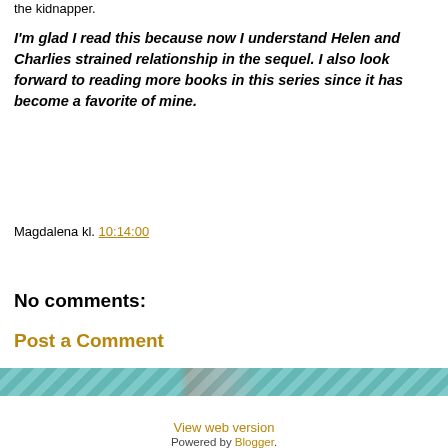the kidnapper.
I'm glad I read this because now I understand Helen and Charlies strained relationship in the sequel. I also look forward to reading more books in this series since it has become a favorite of mine.
Magdalena kl. 10:14:00
Share
No comments:
Post a Comment
[Figure (illustration): Decorative banner strip with teal/coral pattern]
< Home > View web version Powered by Blogger.